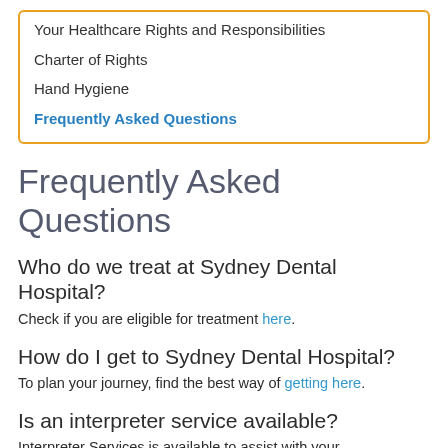Your Healthcare Rights and Responsibilities
Charter of Rights
Hand Hygiene
Frequently Asked Questions
Frequently Asked Questions
Who do we treat at Sydney Dental Hospital?
Check if you are eligible for treatment here.
How do I get to Sydney Dental Hospital?
To plan your journey, find the best way of getting here.
Is an interpreter service available?
Interpreter Services is available to assist with your appointments. This is a free service available to all patients and their